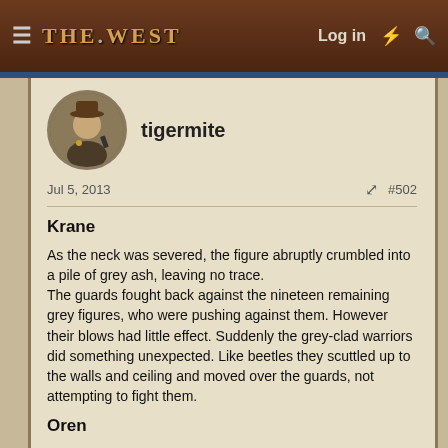THE WEST — Log in
tigermite
Jul 5, 2013    #502
Krane
As the neck was severed, the figure abruptly crumbled into a pile of grey ash, leaving no trace.
The guards fought back against the nineteen remaining grey figures, who were pushing against them. However their blows had little effect. Suddenly the grey-clad warriors did something unexpected. Like beetles they scuttled up to the walls and ceiling and moved over the guards, not attempting to fight them.
Oren
Four guards moved to attack Shyther, one stumbled on Leo's body and was cut down instantly. Another was knocked to the